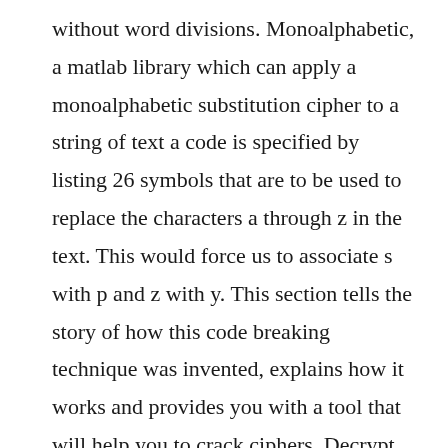without word divisions. Monoalphabetic, a matlab library which can apply a monoalphabetic substitution cipher to a string of text a code is specified by listing 26 symbols that are to be used to replace the characters a through z in the text. This would force us to associate s with p and z with y. This section tells the story of how this code breaking technique was invented, explains how it works and provides you with a tool that will help you to crack ciphers. Decrypt works by looking at 2letter pattern frequencies and